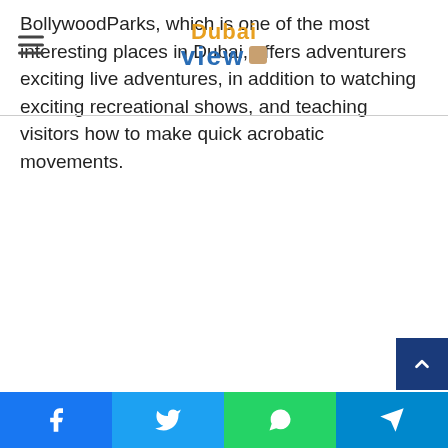[Figure (logo): Dubai View logo with hamburger menu icon on the left. Logo shows 'Dubai' in orange and 'View' in blue with a small brown icon.]
BollywoodParks, which is one of the most interesting places in Dubai, offers adventurers exciting live adventures, in addition to watching exciting recreational shows, and teaching visitors how to make quick acrobatic movements.